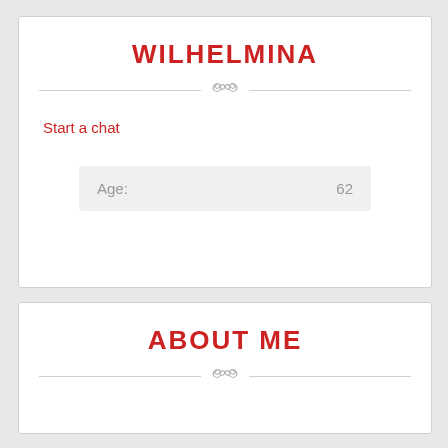WILHELMINA
Start a chat
| Age: | 62 |
| --- | --- |
ABOUT ME